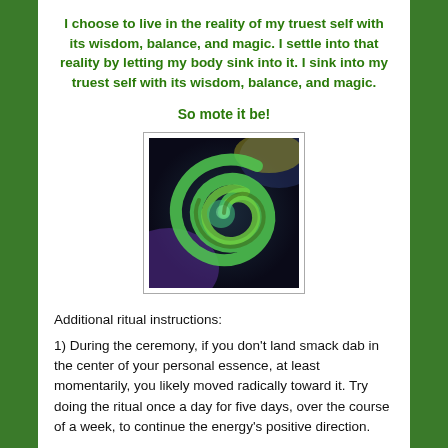I choose to live in the reality of my truest self with its wisdom, balance, and magic. I settle into that reality by letting my body sink into it. I sink into my truest self with its wisdom, balance, and magic.
So mote it be!
[Figure (illustration): Abstract swirling spiral image with green, blue, yellow, and purple tones on a dark background]
Additional ritual instructions:
1) During the ceremony, if you don't land smack dab in the center of your personal essence, at least momentarily, you likely moved radically toward it. Try doing the ritual once a day for five days, over the course of a week, to continue the energy's positive direction.